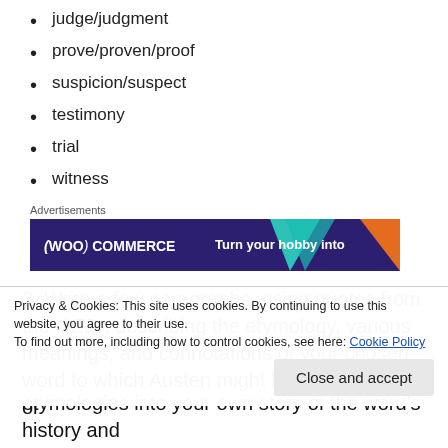judge/judgment
prove/proven/proof
suspicion/suspect
testimony
trial
witness
[Figure (screenshot): WooCommerce advertisement banner: dark purple background with teal triangle and orange triangle, WooCommerce logo on left, text 'Turn your hobby into' on right side]
2. Write a few paragraphs, using quotes from the OED, describing the etymology, various meanings, and connotations of your chosen word to which Austen might have had access or
Privacy & Cookies: This site uses cookies. By continuing to use this website, you agree to their use.
To find out more, including how to control cookies, see here: Cookie Policy
etymologies into your own story of the word's history and